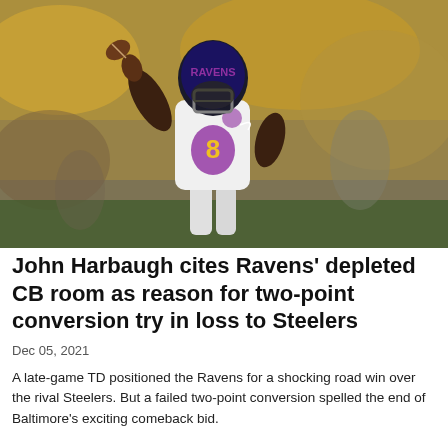[Figure (photo): Baltimore Ravens quarterback #8 in white uniform winding up to throw a pass, photographed at a night game against the Steelers]
John Harbaugh cites Ravens' depleted CB room as reason for two-point conversion try in loss to Steelers
Dec 05, 2021
A late-game TD positioned the Ravens for a shocking road win over the rival Steelers. But a failed two-point conversion spelled the end of Baltimore's exciting comeback bid.